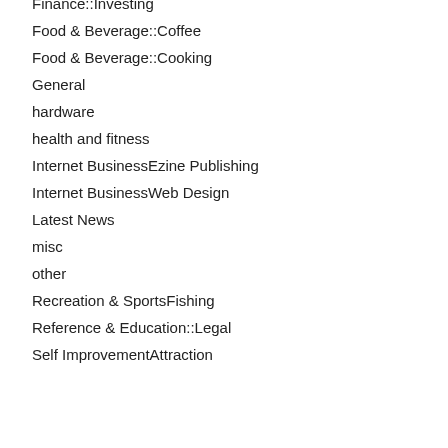Finance::Investing
Food & Beverage::Coffee
Food & Beverage::Cooking
General
hardware
health and fitness
Internet BusinessEzine Publishing
Internet BusinessWeb Design
Latest News
misc
other
Recreation & SportsFishing
Reference & Education::Legal
Self ImprovementAttraction